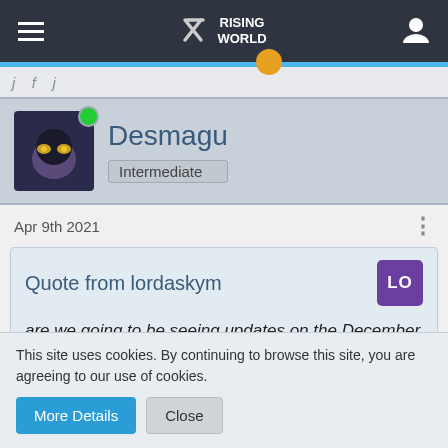RISING WORLD
Desmagu
Intermediate
Apr 9th 2021
Quote from lordaskym
are we going to be seeing updates on the December playable version or will there be a main playable version not part of the Dec version?
This site uses cookies. By continuing to browse this site, you are agreeing to our use of cookies.